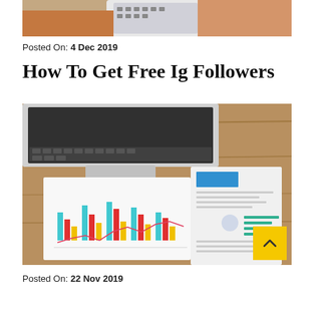[Figure (photo): Cropped top portion of a person holding a smartphone, partially visible at the top of the page]
Posted On: 4 Dec 2019
How To Get Free Ig Followers
[Figure (photo): Flat-lay photo of a laptop keyboard, chart documents with bar and line charts, and a resume/CV document on a wooden table surface]
Posted On: 22 Nov 2019